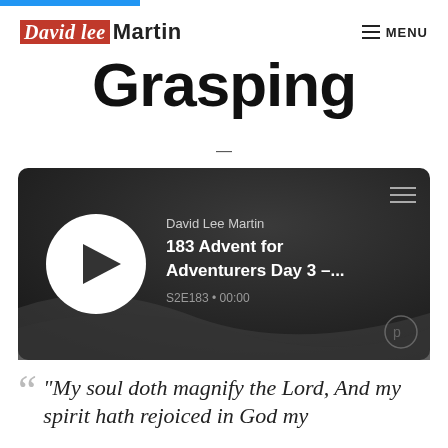David Lee Martin | MENU
Grasping
[Figure (screenshot): Podcast player card showing David Lee Martin episode '183 Advent for Adventurers Day 3 –...' S2E183 • 00:00 with play button and Podbean logo]
“My soul doth magnify the Lord, And my spirit hath rejoiced in God my